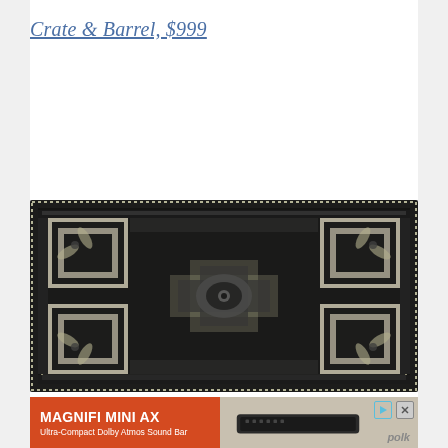Crate & Barrel, $999
[Figure (photo): Dark vintage-style area rug with ornate medallion pattern in black and cream/ivory tones, featuring geometric and floral motifs with a distressed finish]
[Figure (other): Advertisement for MAGNIFI MINI AX - Ultra-Compact Dolby Atmos Sound Bar by Polk, shown on an orange and grey background with a photo of the compact sound bar device]